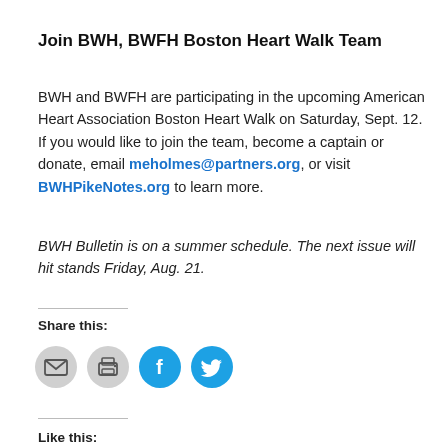Join BWH, BWFH Boston Heart Walk Team
BWH and BWFH are participating in the upcoming American Heart Association Boston Heart Walk on Saturday, Sept. 12. If you would like to join the team, become a captain or donate, email meholmes@partners.org, or visit BWHPikeNotes.org to learn more.
BWH Bulletin is on a summer schedule. The next issue will hit stands Friday, Aug. 21.
Share this:
[Figure (infographic): Social sharing icons: email (gray circle with envelope), print (gray circle with printer), Facebook (blue circle with f logo), Twitter (blue circle with bird logo)]
Like this: